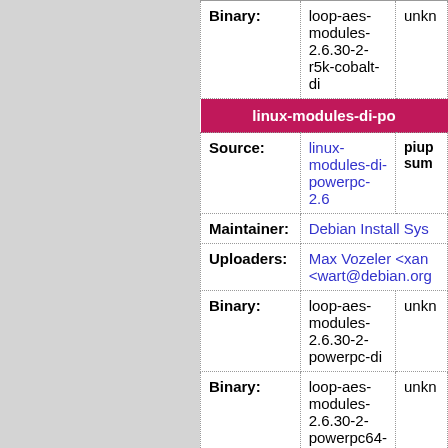| Field | Value | Extra |
| --- | --- | --- |
| Binary: | loop-aes-modules-2.6.30-2-r5k-cobalt-di | unkn |
| linux-modules-di-po (section header) |  |  |
| Source: | linux-modules-di-powerpc-2.6 | piup sum |
| Maintainer: | Debian Install Sys |  |
| Uploaders: | Max Vozeler <xan <wart@debian.org |  |
| Binary: | loop-aes-modules-2.6.30-2-powerpc-di | unkn |
| Binary: | loop-aes-modules-2.6.30-2-powerpc64-di | unkn |